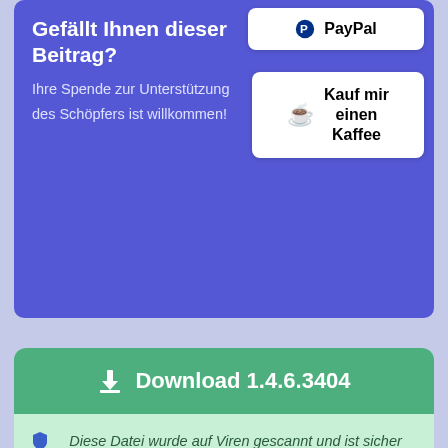Gefällt Ihnen dieser Beitrag?
Ihre Spende zur Unterstützung des Schöpfers ist willkommen!
[Figure (screenshot): PayPal donation button - white rounded button with PayPal logo and text 'PayPal']
[Figure (screenshot): Buy me a coffee button - white rounded button with coffee cup icon and text 'Kauf mir einen Kaffee']
⬇ Download 1.4.6.3404
🛡 Diese Datei wurde auf Viren gescannt und ist sicher zum Download.
[Figure (screenshot): Black overlay panel with white loading spinner circle, and a white panel below]